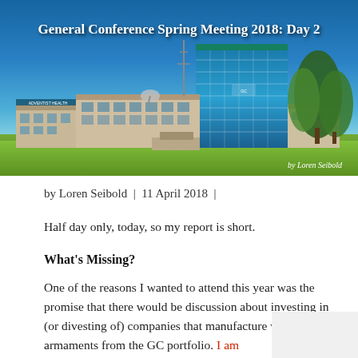[Figure (photo): Exterior photo of a modern glass-and-concrete conference center building under a clear blue sky, with a green lawn in the foreground. Title 'General Conference Spring Meeting 2018: Day 2' overlaid in bold white text at top. Photo credit 'by Loren Seibold' in bottom right corner.]
by Loren Seibold  |  11 April 2018  |
Half day only, today, so my report is short.
What's Missing?
One of the reasons I wanted to attend this year was the promise that there would be discussion about investing in (or divesting of) companies that manufacture weapons and armaments from the GC portfolio. I am